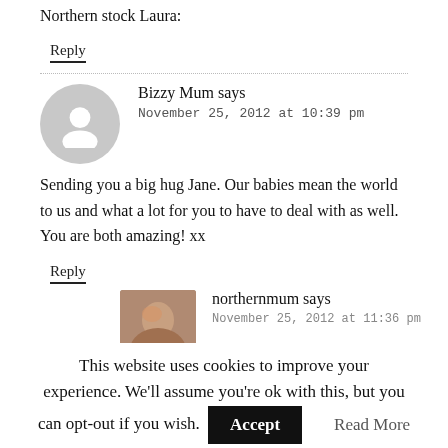Northern stock Laura:
Reply
Bizzy Mum says
November 25, 2012 at 10:39 pm
Sending you a big hug Jane. Our babies mean the world to us and what a lot for you to have to deal with as well. You are both amazing! xx
Reply
northernmum says
November 25, 2012 at 11:36 pm
This website uses cookies to improve your experience. We'll assume you're ok with this, but you can opt-out if you wish. Accept Read More